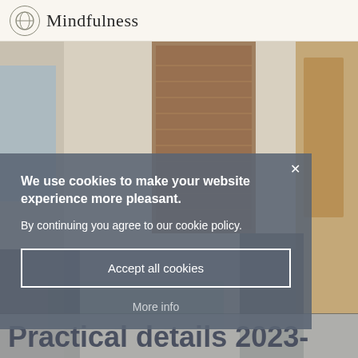Mindfulness
[Figure (photo): Interior room photo showing a meditation/yoga room with natural light, woven wall hanging, chairs and yoga mat on the floor]
We use cookies to make your website experience more pleasant. By continuing you agree to our cookie policy.
Accept all cookies
More info
Practical details 2023-